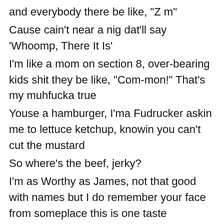and everybody there be like, "Z m"
Cause cain't near a nig dat'll say 'Whoomp, There It Is'
I'm like a mom on section 8, over-bearing kids shit they be like, "Com-mon!" That's my muhfucka true
Youse a hamburger, I'ma Fudrucker askin me to lettuce ketchup, knowin you can't cut the mustard
So where's the beef, jerky?
I'm as Worthy as James, not that good with names but I do remember your face from someplace this is one taste
of Chicago, we got mo' many mo' many mo' many mo' flavors